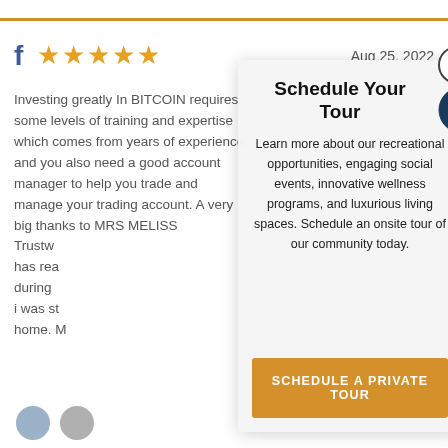f ★★★★★   Aug 25, 2022
Investing greatly In BITCOIN requires some levels of training and expertise which comes from years of experience, and you also need a good account manager to help you trade and manage your trading account. A very big thanks to MRS MELISS... Trustw... has rea... during... i was st... home. M...
Schedule Your Tour
Learn more about our recreational opportunities, engaging social events, innovative wellness programs, and luxurious living spaces. Schedule an onsite tour of our community today.
SCHEDULE A PRIVATE TOUR